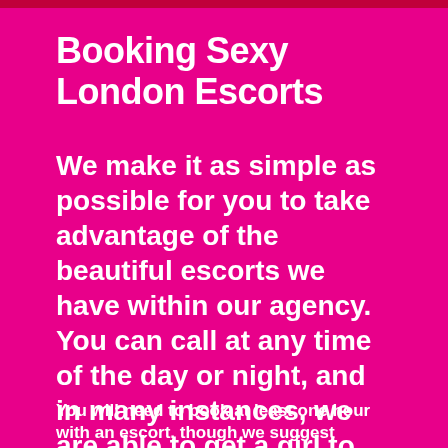Booking Sexy London Escorts
We make it as simple as possible for you to take advantage of the beautiful escorts we have within our agency. You can call at any time of the day or night, and in many instances, we are able to get a girl to you within the hour. This means that even after a bad day, you can still turn it around.
You will need to book at least one hour with an escort, though we suggest